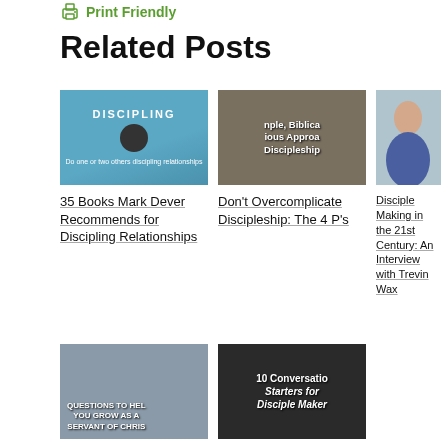Print Friendly
Related Posts
[Figure (photo): Book cover for 'Discipling' — blue cover with illustration]
[Figure (photo): Text overlay: 'Simple, Biblical, Various Approach Discipleship']
[Figure (photo): Photo of a man in blue shirt smiling]
35 Books Mark Dever Recommends for Discipling Relationships
Don't Overcomplicate Discipleship: The 4 P's
Disciple Making in the 21st Century: An Interview with Trevin Wax
[Figure (photo): Image with text overlay: 'Questions to Help You Grow as a Servant of Christ']
[Figure (photo): Image with text: '10 Conversation Starters for Disciple Makers']
5 Questions to Help You Grow as a Servant of Christ
10 Conversation Starters for Disciple Makers